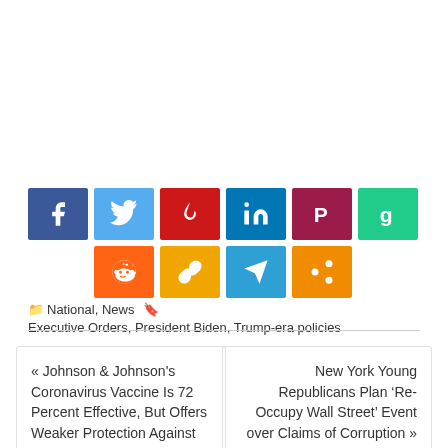[Figure (infographic): Social media share buttons in two rows: Facebook, Twitter, Parler (red flame), LinkedIn, Parler (dark), Gab (green) in top row; Reddit, Copy link, Telegram, Share in bottom row]
National, News    Executive Orders, President Biden, Trump-era policies
« Johnson & Johnson's Coronavirus Vaccine Is 72 Percent Effective, But Offers Weaker Protection Against New Strains
New York Young Republicans Plan 'Re-Occupy Wall Street' Event over Claims of Corruption »